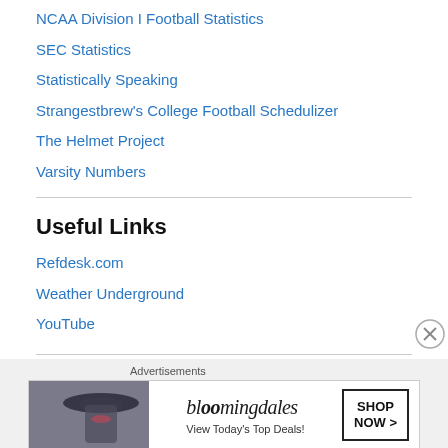NCAA Division I Football Statistics
SEC Statistics
Statistically Speaking
Strangestbrew's College Football Schedulizer
The Helmet Project
Varsity Numbers
Useful Links
Refdesk.com
Weather Underground
YouTube
Time, time...
[Figure (other): Bloomingdale's advertisement banner: 'View Today's Top Deals!' with SHOP NOW button]